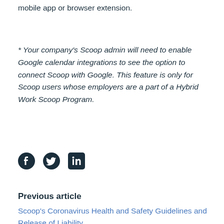mobile app or browser extension.
* Your company's Scoop admin will need to enable Google calendar integrations to see the option to connect Scoop with Google. This feature is only for Scoop users whose employers are a part of a Hybrid Work Scoop Program.
[Figure (other): Social media icons: Facebook, Twitter, LinkedIn]
Previous article
Scoop's Coronavirus Health and Safety Guidelines and Release of Liability